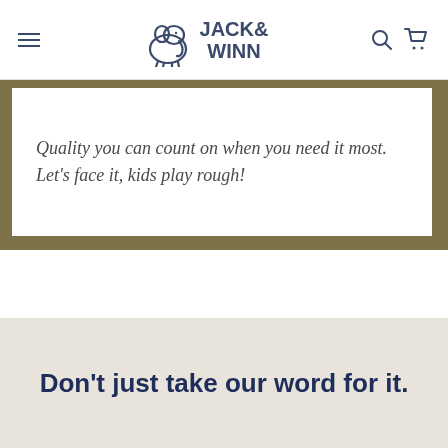Jack & Winn — site navigation header with logo, hamburger menu, search and cart icons
Quality you can count on when you need it most. Let's face it, kids play rough!
Don't just take our word for it.